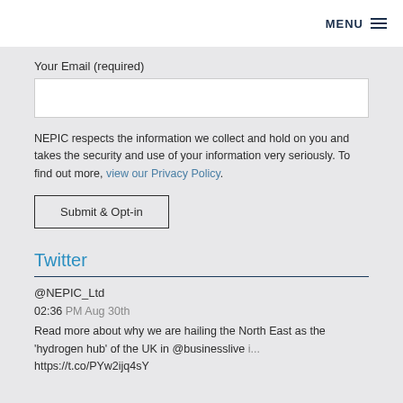MENU
Your Email (required)
NEPIC respects the information we collect and hold on you and takes the security and use of your information very seriously. To find out more, view our Privacy Policy.
Submit & Opt-in
Twitter
@NEPIC_Ltd
02:36 PM Aug 30th
Read more about why we are hailing the North East as the 'hydrogen hub' of the UK in @businesslive i... https://t.co/PYw2ijq4sY